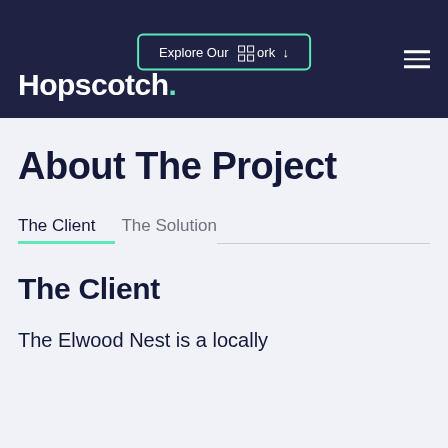Hopscotch. Explore Our Work ↓
About The Project
The Client
The Solution
The Client
The Elwood Nest is a locally